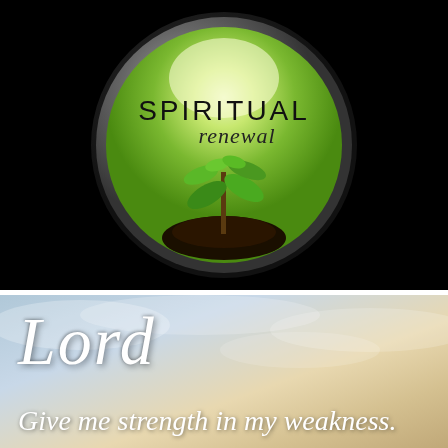[Figure (illustration): A circular badge/button with a dark metallic border set against a black background. Inside the circle is a green bokeh background with soft light at the top center. The text 'SPIRITUAL' appears in large dark serif letters and 'renewal' in smaller italic script below it. In the center-bottom of the circle, a small green seedling plant grows from a mound of dark soil.]
[Figure (photo): A sky photo with soft clouds and warm sunset tones. Overlaid with large white italic cursive text reading 'Lord' and below it smaller cursive text reading 'Give me strength in my weakness.']